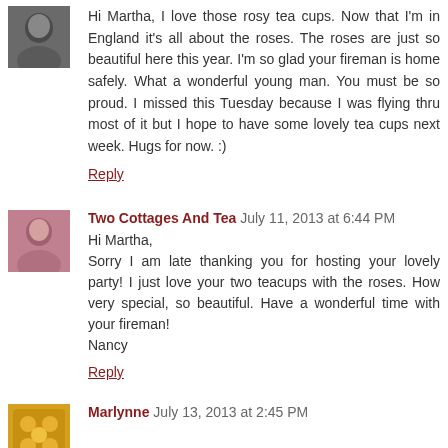[Figure (photo): Avatar image of commenter, dark toned portrait]
Hi Martha, I love those rosy tea cups. Now that I'm in England it's all about the roses. The roses are just so beautiful here this year. I'm so glad your fireman is home safely. What a wonderful young man. You must be so proud. I missed this Tuesday because I was flying thru most of it but I hope to have some lovely tea cups next week. Hugs for now. :)
Reply
[Figure (photo): Avatar image of Two Cottages And Tea commenter]
Two Cottages And Tea July 11, 2013 at 6:44 PM
Hi Martha,
Sorry I am late thanking you for hosting your lovely party! I just love your two teacups with the roses. How very special, so beautiful. Have a wonderful time with your fireman!
Nancy
Reply
[Figure (photo): Avatar image of Marlynne commenter]
Marlynne July 13, 2013 at 2:45 PM